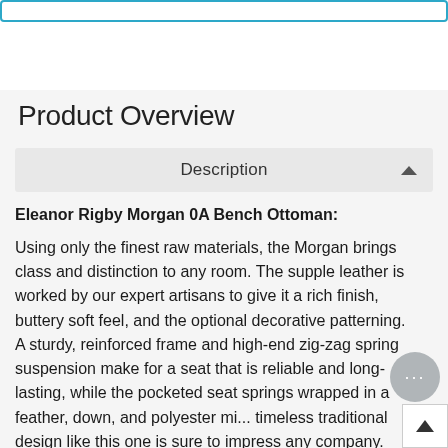[Figure (screenshot): Top navigation/search bar with teal/blue border, partially visible at top of page]
Product Overview
Description
Eleanor Rigby Morgan 0A Bench Ottoman:
Using only the finest raw materials, the Morgan brings class and distinction to any room. The supple leather is worked by our expert artisans to give it a rich finish, buttery soft feel, and the optional decorative patterning. A sturdy, reinforced frame and high-end zig-zag spring suspension make for a seat that is reliable and long-lasting, while the pocketed seat springs wrapped in a feather, down, and polyester mi... timeless traditional design like this one is sure to impress any company.